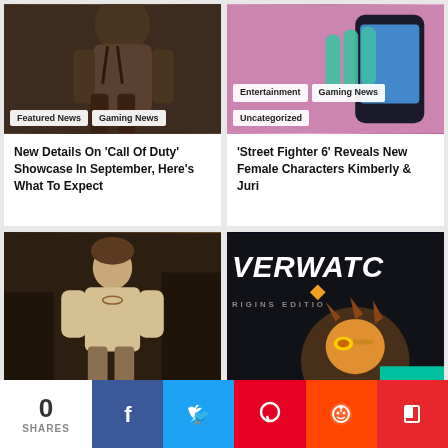[Figure (photo): Call of Duty game character with military gear and backpack on dark background, tags: Featured News, Gaming News]
[Figure (photo): Street Fighter 6 characters - colorful game art with characters and phone/device, tags: Entertainment, Gaming News, Uncategorized]
New Details On 'Call Of Duty' Showcase In September, Here's What To Expect
'Street Fighter 6' Reveals New Female Characters Kimberly & Juri
[Figure (photo): Tom Holland as Nathan Drake in Uncharted movie, standing in front of ruins wearing beige long-sleeve shirt]
[Figure (screenshot): Overwatch Origins Edition logo and box art featuring Tracer character]
0 SHARES
[Figure (infographic): Social share bar with Facebook, Twitter, Pinterest, Reddit, Flipboard buttons]